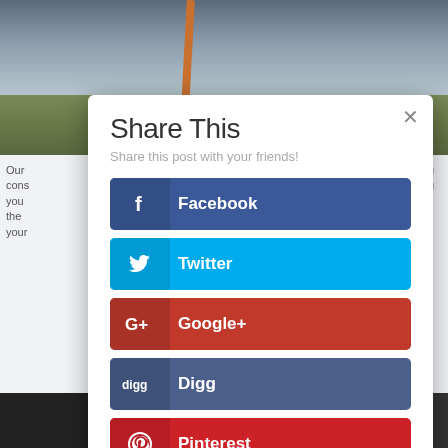[Figure (photo): Landscape background photo showing a flat open field under an overcast sky with a pole visible, partially obscured by a modal overlay]
Share This
Share this post with your friends!
Facebook
Twitter
Google+
Digg
Pinterest
reddit
Our cons you the your